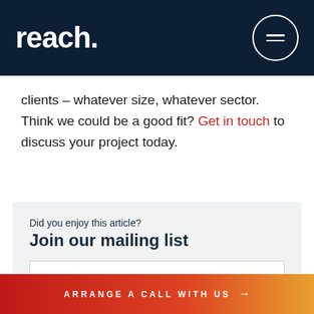reach.
clients – whatever size, whatever sector. Think we could be a good fit? Get in touch to discuss your project today.
Did you enjoy this article? Join our mailing list
email address
SUBSCRIBE
ARRANGE A CALL WITH US →